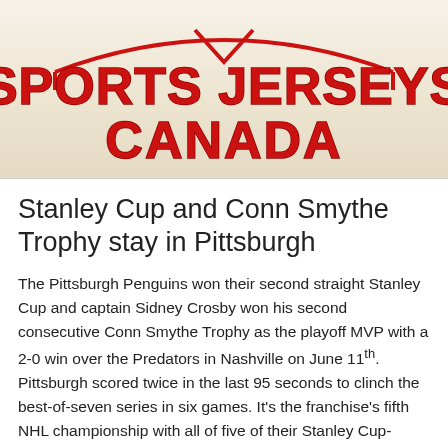[Figure (logo): Sports Jerseys Canada logo with red bold text on cream/beige background, featuring a hockey rink outline arc above the text]
Stanley Cup and Conn Smythe Trophy stay in Pittsburgh
The Pittsburgh Penguins won their second straight Stanley Cup and captain Sidney Crosby won his second consecutive Conn Smythe Trophy as the playoff MVP with a 2-0 win over the Predators in Nashville on June 11th. Pittsburgh scored twice in the last 95 seconds to clinch the best-of-seven series in six games. It's the franchise's fifth NHL championship with all of five of their Stanley Cup-winning seasons coming through. The team is the first to pick...